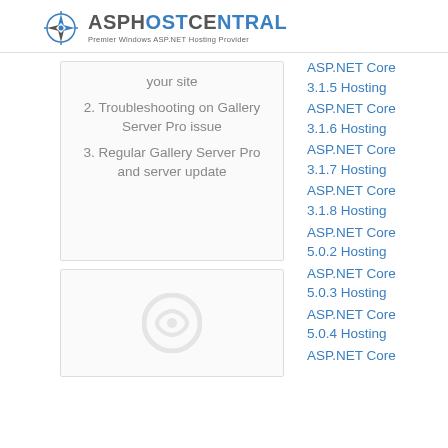ASPHOSTCENTRAL - Premier Windows ASP.NET Hosting Provider
your site
2. Troubleshooting on Gallery Server Pro issue
3. Regular Gallery Server Pro and server update
ASP.NET Core 3.1.5 Hosting
ASP.NET Core 3.1.6 Hosting
ASP.NET Core 3.1.7 Hosting
ASP.NET Core 3.1.8 Hosting
ASP.NET Core 5.0.2 Hosting
ASP.NET Core 5.0.3 Hosting
ASP.NET Core 5.0.4 Hosting
ASP.NET Core